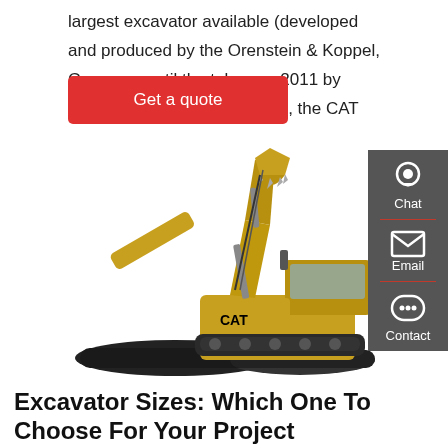largest excavator available (developed and produced by the Orenstein & Koppel, Germany, until the takeover 2011 by Caterpillar, named »RH400«), the CAT
Get a quote
[Figure (photo): Yellow CAT excavator product photo on white background]
Excavator Sizes: Which One To Choose For Your Project...